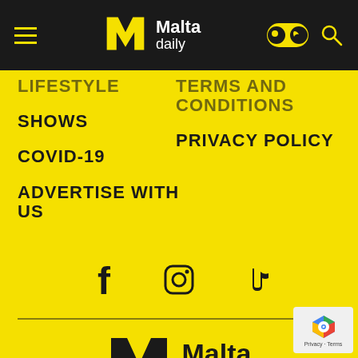Malta Daily - navigation header
LIFESTYLE (partial)
TERMS AND CONDITIONS
SHOWS
PRIVACY POLICY
COVID-19
ADVERTISE WITH US
[Figure (infographic): Social media icons: Facebook, Instagram, TikTok]
[Figure (logo): Malta Daily logo - bottom of page footer]